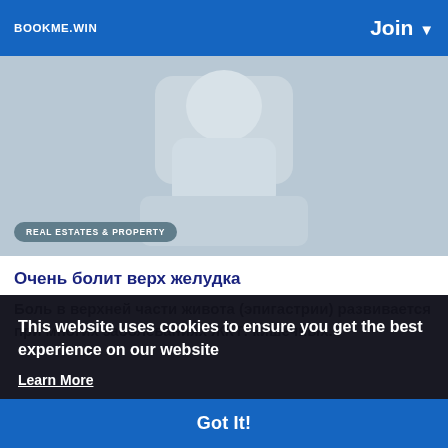BOOKME.WIN   Join ▼
[Figure (screenshot): Hero banner image with light blue-grey background showing a partial real estate icon/silhouette]
REAL ESTATES & PROPERTY
Очень болит верх желудка
Боль в верхней части живота (эпигастрии) развивается при многих заболеваниях ЖКТ: кишечных...
This website uses cookies to ensure you get the best experience on our website
Learn More
Got It!